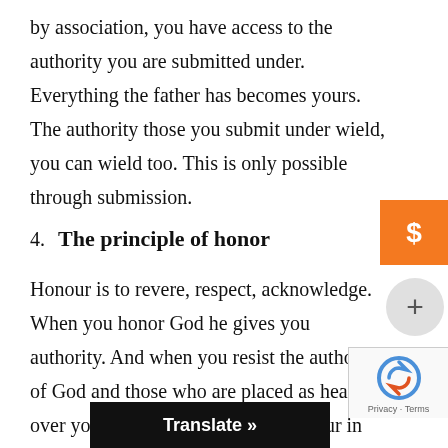by association, you have access to the authority you are submitted under. Everything the father has becomes yours. The authority those you submit under wield, you can wield too. This is only possible through submission.
4. The principle of honor
Honour is to revere, respect, acknowledge. When you honor God he gives you authority. And when you resist the authority of God and those who are placed as head over you it brings curses. With Honour in your heart, you can walk in God's authority and the authority of those he has placed over you. That is the principle of honor in